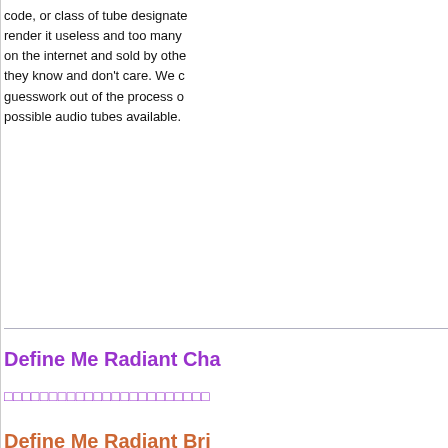code, or class of tube designate... render it useless and too many... on the internet and sold by othe... they know and don't care. We c... guesswork out of the process o... possible audio tubes available.
Define Me Radiant Cha...
Thai script link text
Define Me Radiant Bri...
Thai script link text
>>> Thai script more link
CreÃte_Lek ♪
BuRaPha_TeAm
Global Moderator
Hero Member
Re: file pdf Thai text
« Thai text #8 Thai text: 14 Thai text 2... 10:12:31 PM »
Thai text continued...